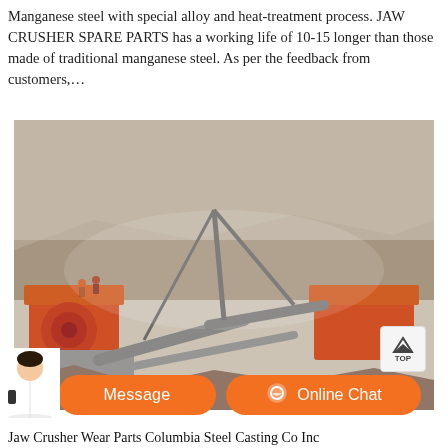Manganese steel with special alloy and heat-treatment process. JAW CRUSHER SPARE PARTS has a working life of 10-15 longer than those made of traditional manganese steel. As per the feedback from customers,…
[Figure (photo): Outdoor quarry/mining site photograph showing jaw crusher machines and conveyor belts in operation, with rocky hillside in background and dust in the air.]
Jaw Crusher Wear Parts Columbia Steel Casting Co Inc